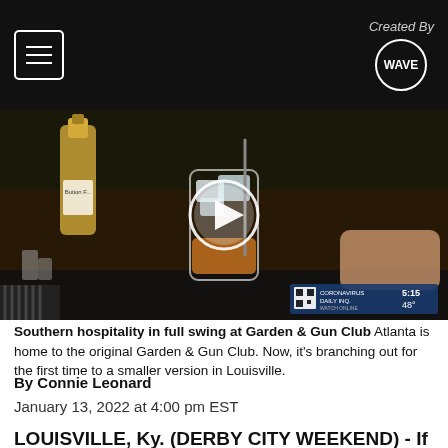Created By WAVE
[Figure (photo): Video thumbnail showing a bartender preparing a cocktail in a glass with ice and a straw, with a liquor bottle visible on the left. A play button overlay is centered on the image. A TV station bug with time 5:15 and temperature 48° is in the lower right.]
Southern hospitality in full swing at Garden & Gun Club Atlanta is home to the original Garden & Gun Club. Now, it's branching out for the first time to a smaller version in Louisville.
By Connie Leonard
January 13, 2022 at 4:00 pm EST
LOUISVILLE, Ky. (DERBY CITY WEEKEND) - If